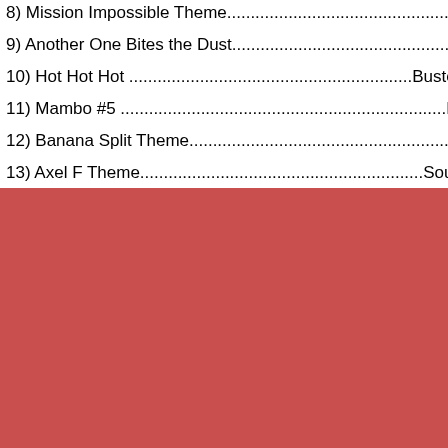8) Mission Impossible Theme.....................................................................Hans Zimmer
9) Another One Bites the Dust.................................................................... Queen
10) Hot Hot Hot .....................................................................Buster Poindexter
11) Mambo #5 .....................................................................Lou Bega
12) Banana Split Theme.................................................................... Banana Splits
13) Axel F Theme.....................................................................Soundtrack The